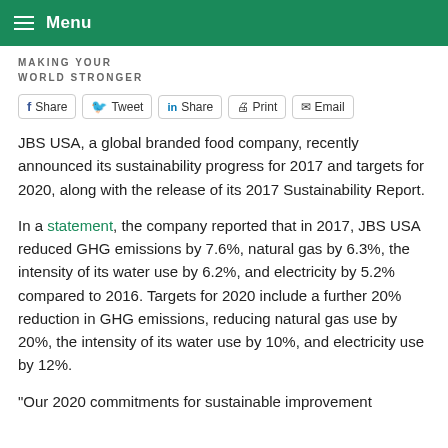Menu
MAKING YOUR WORLD STRONGER
Share  Tweet  Share  Print  Email
JBS USA, a global branded food company, recently announced its sustainability progress for 2017 and targets for 2020, along with the release of its 2017 Sustainability Report.
In a statement, the company reported that in 2017, JBS USA reduced GHG emissions by 7.6%, natural gas by 6.3%, the intensity of its water use by 6.2%, and electricity by 5.2% compared to 2016. Targets for 2020 include a further 20% reduction in GHG emissions, reducing natural gas use by 20%, the intensity of its water use by 10%, and electricity use by 12%.
“Our 2020 commitments for sustainable improvement